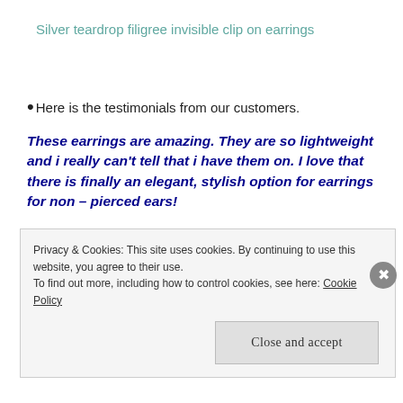Silver teardrop filigree invisible clip on earrings
Here is the testimonials from our customers.
These earrings are amazing. They are so lightweight and i really can't tell that i have them on. I love that there is finally an elegant, stylish option for earrings for non – pierced ears!
Privacy & Cookies: This site uses cookies. By continuing to use this website, you agree to their use. To find out more, including how to control cookies, see here: Cookie Policy
Close and accept